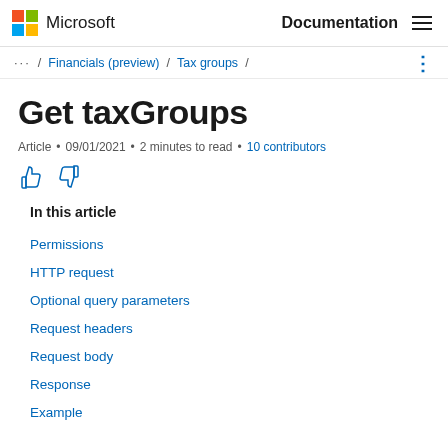Microsoft  Documentation
... / Financials (preview) / Tax groups /
Get taxGroups
Article • 09/01/2021 • 2 minutes to read • 10 contributors
In this article
Permissions
HTTP request
Optional query parameters
Request headers
Request body
Response
Example